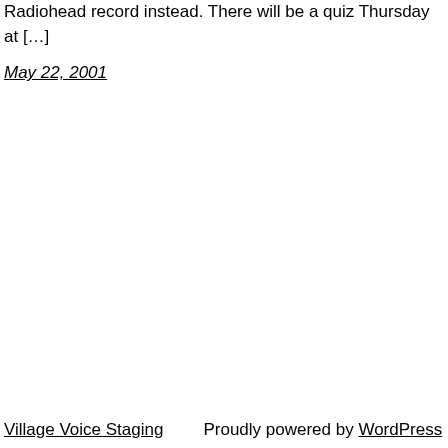Radiohead record instead. There will be a quiz Thursday at […]
May 22, 2001
Village Voice Staging   Proudly powered by WordPress